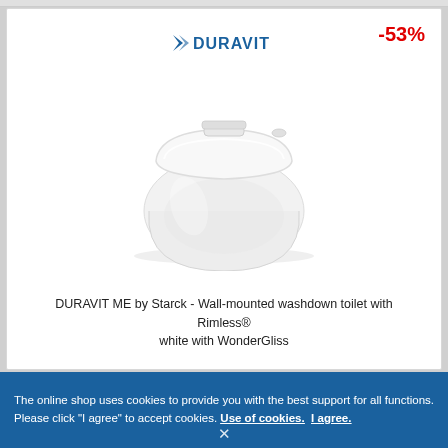[Figure (logo): Duravit brand logo with blue bird/arrow icon]
-53%
[Figure (photo): White wall-mounted toilet (DURAVIT ME by Starck) with soft-close lid, shown in profile against white background]
DURAVIT ME by Starck - Wall-mounted washdown toilet with Rimless® white with WonderGliss
The online shop uses cookies to provide you with the best support for all functions. Please click "I agree" to accept cookies. Use of cookies. I agree.